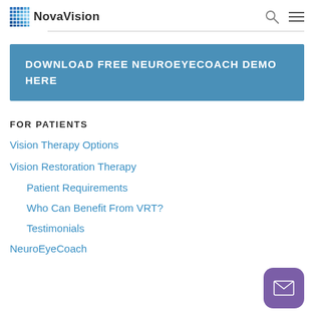NovaVision
[Figure (logo): NovaVision logo with dot grid and company name]
DOWNLOAD FREE NEUROEYECOACH DEMO HERE
FOR PATIENTS
Vision Therapy Options
Vision Restoration Therapy
Patient Requirements
Who Can Benefit From VRT?
Testimonials
NeuroEyeCoach